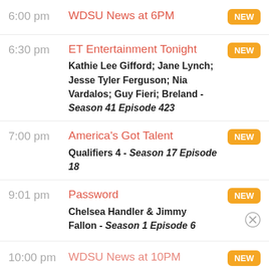6:00 pm — WDSU News at 6PM — NEW
6:30 pm — ET Entertainment Tonight — NEW — Kathie Lee Gifford; Jane Lynch; Jesse Tyler Ferguson; Nia Vardalos; Guy Fieri; Breland - Season 41 Episode 423
7:00 pm — America's Got Talent — NEW — Qualifiers 4 - Season 17 Episode 18
9:01 pm — Password — NEW — Chelsea Handler & Jimmy Fallon - Season 1 Episode 6
10:00 pm — WDSU News at 10PM — NEW
10:34 pm — The Tonight Show Starring Jimmy Fallon